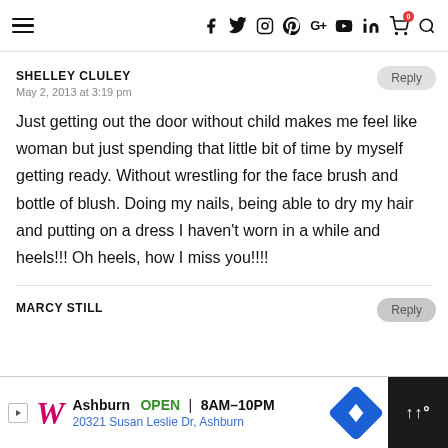Navigation bar with hamburger menu, social icons (f, twitter, instagram, pinterest, G+, youtube, in), cart with badge 0, and search icon
SHELLEY CLULEY
May 2, 2013 at 3:19 pm
Just getting out the door without child makes me feel like woman but just spending that little bit of time by myself getting ready. Without wrestling for the face brush and bottle of blush. Doing my nails, being able to dry my hair and putting on a dress I haven't worn in a while and heels!!! Oh heels, how I miss you!!!!
MARCY STILL
[Figure (other): Walgreens advertisement banner: Ashburn OPEN 8AM-10PM, 20321 Susan Leslie Dr, Ashburn]